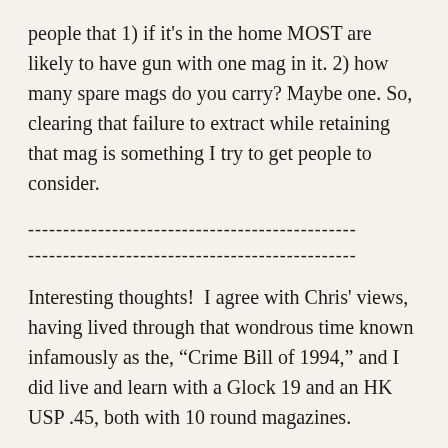people that 1) if it’s in the home MOST are likely to have gun with one mag in it. 2) how many spare mags do you carry? Maybe one. So, clearing that failure to extract while retaining that mag is something I try to get people to consider.
-----------------------------------------------
-----------------------------------------------
Interesting thoughts!  I agree with Chris’ views, having lived through that wondrous time known infamously as the, “Crime Bill of 1994,” and I did live and learn with a Glock 19 and an HK USP .45, both with 10 round magazines.